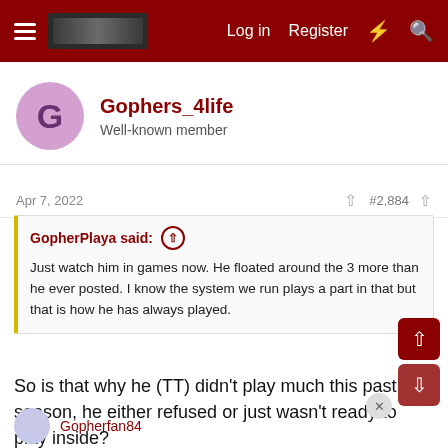Log in  Register
Gophers_4life
Well-known member
Apr 7, 2022  #2,884
GopherPlaya said: Just watch him in games now. He floated around the 3 more than he ever posted. I know the system we run plays a part in that but that is how he has always played.
So is that why he (TT) didn't play much this past season, he either refused or just wasn't ready to play inside?

I assume we wouldn't recruit him if the coaches wanted him inside but he only wants to play on the perimeter.
Gopherfan84